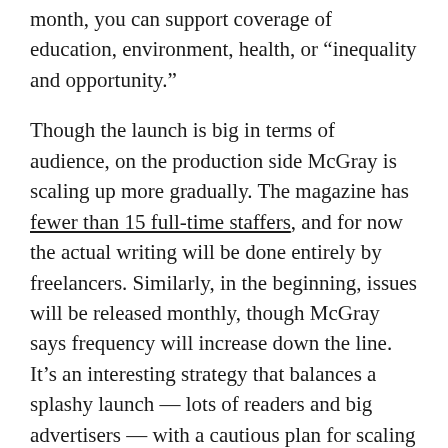month, you can support coverage of education, environment, health, or “inequality and opportunity.”
Though the launch is big in terms of audience, on the production side McGray is scaling up more gradually. The magazine has fewer than 15 full-time staffers, and for now the actual writing will be done entirely by freelancers. Similarly, in the beginning, issues will be released monthly, though McGray says frequency will increase down the line. It’s an interesting strategy that balances a splashy launch — lots of readers and big advertisers — with a cautious plan for scaling that focuses on sustainability and longevity.